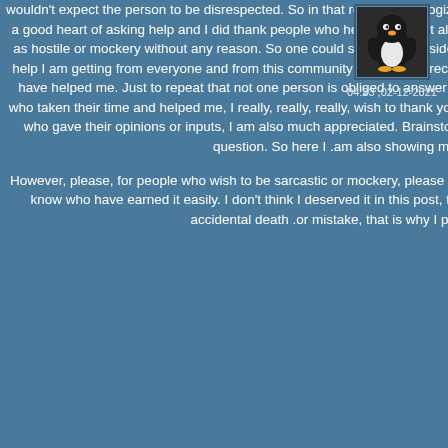wouldn't expect the person to be disrespected. So in that regard, I apologize if I came out disrespectful. However, I did come in with a good heart of asking help and I did thank people who helped me. But also from my point of view, couple of answers came to me as hostile or mockery without any reason. So one could say, it is both side at fault why the OP easily went south. Once again, the help I am getting from everyone and from this community is much appreciate it and I thank everyone who have taken their time to have helped me. Just to repeat that not one person is obliged to answer my questions or anyone's in fact, and for all the people who taken their time and helped me, I really, really, really, wish to thank you all as I am grateful. Including you gfx As for the people who gave their opinions or inputs, I am also much appreciated. Brainstorming is as equally helpful as giving the answer to the question. So here I am also showing my appreciation to them.

However, please, for people who wish to be sarcastic or mockery, please use it when the person have earned it. Trust me, you will know who have earned it easily. I don't think I deserved it in this post, though. I came asking for help to save an MSX2 from accidental death or mistake, that is why I posted this in the first place.
[Figure (illustration): Small avatar image of a cartoon penguin silhouette on a dark background]
04:23 ,02-12-2021